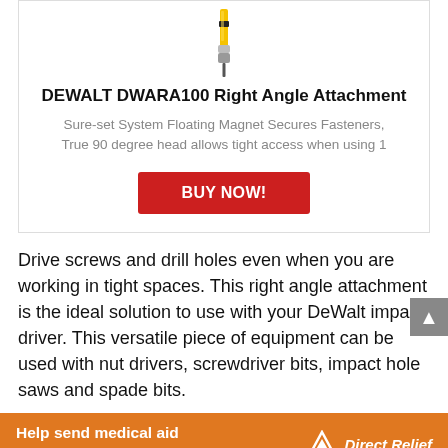[Figure (photo): DEWALT DWARA100 Right Angle Attachment product image - yellow and black drill attachment tool]
DEWALT DWARA100 Right Angle Attachment
Sure-set System Floating Magnet Secures Fasteners, True 90 degree head allows tight access when using 1
BUY NOW!
Drive screws and drill holes even when you are working in tight spaces. This right angle attachment is the ideal solution to use with your DeWalt impact driver. This versatile piece of equipment can be used with nut drivers, screwdriver bits, impact hole saws and spade bits.
[Figure (infographic): Help send medical aid to Ukraine - Direct Relief advertisement banner in orange]